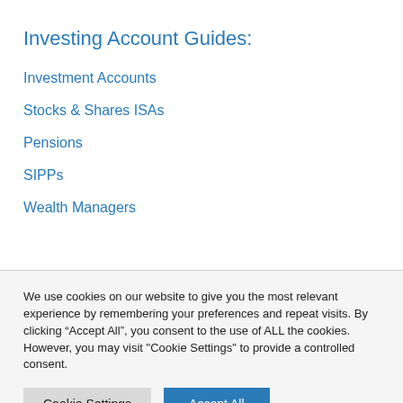Investing Account Guides:
Investment Accounts
Stocks & Shares ISAs
Pensions
SIPPs
Wealth Managers
We use cookies on our website to give you the most relevant experience by remembering your preferences and repeat visits. By clicking “Accept All”, you consent to the use of ALL the cookies. However, you may visit "Cookie Settings" to provide a controlled consent.